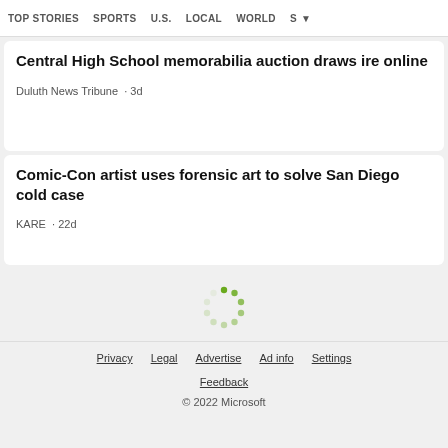TOP STORIES  SPORTS  U.S.  LOCAL  WORLD  S ▼
Central High School memorabilia auction draws ire online
Duluth News Tribune · 3d
Comic-Con artist uses forensic art to solve San Diego cold case
KARE · 22d
[Figure (other): Loading spinner with green dots arranged in a circle]
Privacy  Legal  Advertise  Ad info  Settings  Feedback  © 2022 Microsoft